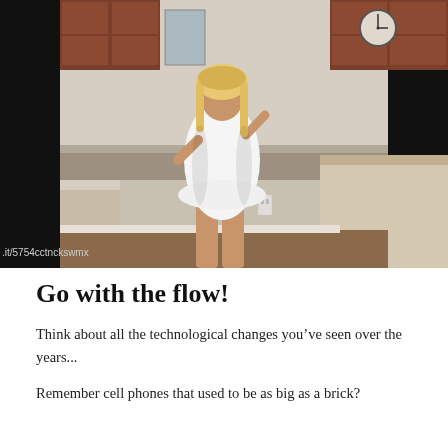[Figure (photo): A woman with blonde hair wearing a tight white short dress stands in a kitchen, posing near a kitchen island. A clock is visible on the wall in the background.]
.it/5754cctnckswmx
Go with the flow!
Think about all the technological changes you've seen over the years...
Remember cell phones that used to be as big as a brick?